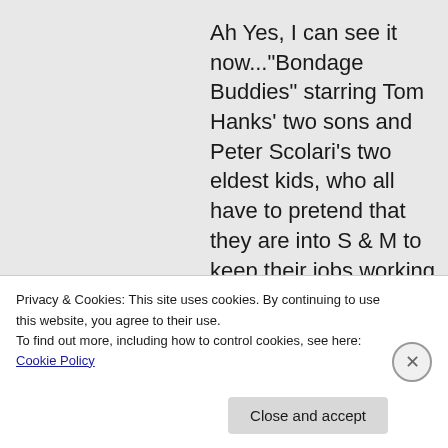Ah Yes, I can see it now..."Bondage Buddies" starring Tom Hanks' two sons and Peter Scolari's two eldest kids, who all have to pretend that they are into S & M to keep their jobs working for the Federal Government
Privacy & Cookies: This site uses cookies. By continuing to use this website, you agree to their use.
To find out more, including how to control cookies, see here: Cookie Policy
Close and accept